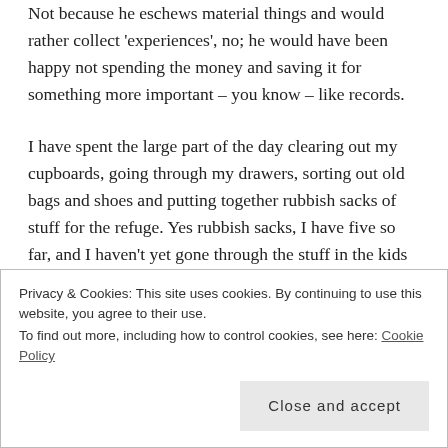Not because he eschews material things and would rather collect 'experiences', no; he would have been happy not spending the money and saving it for something more important – you know – like records.
I have spent the large part of the day clearing out my cupboards, going through my drawers, sorting out old bags and shoes and putting together rubbish sacks of stuff for the refuge. Yes rubbish sacks, I have five so far, and I haven't yet gone through the stuff in the kids room. (My stuff in their wardrobe – we have feck
Privacy & Cookies: This site uses cookies. By continuing to use this website, you agree to their use.
To find out more, including how to control cookies, see here: Cookie Policy